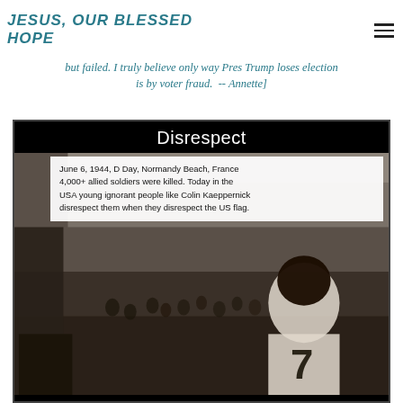JESUS, OUR BLESSED HOPE
but failed. I truly believe only way Pres Trump loses election is by voter fraud.  -- Annette]
[Figure (photo): A composite image with a black background. Title 'Disrespect' in white cursive font at top. Below is a photo combining a D-Day Normandy Beach scene (black and white) with a football player wearing jersey #7 (Colin Kaeppernick). An overlaid white text box reads: 'June 6, 1944, D Day, Normandy Beach, France 4,000+ allied soldiers were killed. Today in the USA young ignorant people like Colin Kaeppernick disrespect them when they disrespect the US flag.']